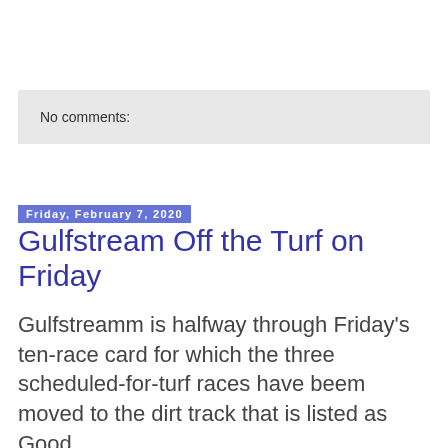No comments:
Friday, February 7, 2020
Gulfstream Off the Turf on Friday
Gulfstreamm is halfway through Friday's ten-race card for which the three scheduled-for-turf races have beem moved to the dirt track that is listed as Good.